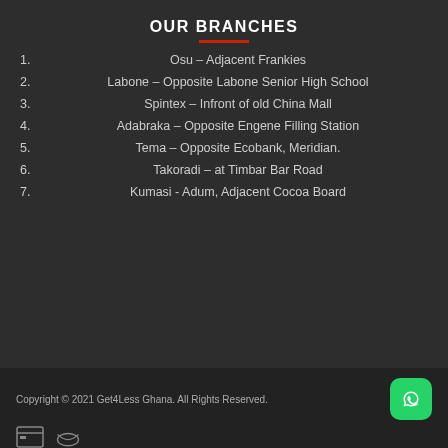OUR BRANCHES
1. Osu – Adjacent Frankies
2. Labone – Opposite Labone Senior High School
3. Spintex – Infront of old China Mall
4. Adabraka – Opposite Engene Filling Station
5. Tema – Opposite Ecobank, Meridian.
6. Takoradi – at Timbar Bar Road
7. Kumasi - Adum, Adjacent Cocoa Board
Copyright © 2021 Get4Less Ghana. All Rights Reserved.